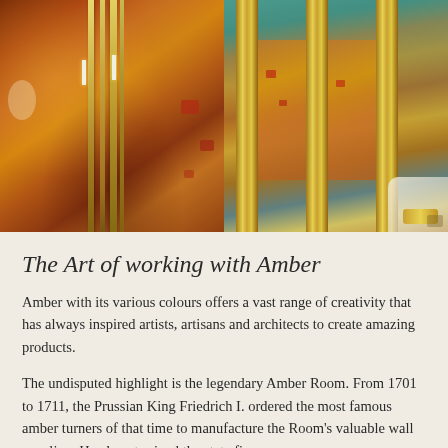[Figure (photo): Two side-by-side photos of ornate amber-decorated interiors. Left photo shows a golden chandelier against rich amber-covered baroque walls with red and gold ornamentation. Right photo shows gold-framed panels with amber and turquoise/teal ceiling visible, elaborate gilded molding.]
The Art of working with Amber
Amber with its various colours offers a vast range of creativity that has always inspired artists, artisans and architects to create amazing products.
The undisputed highlight is the legendary Amber Room. From 1701 to 1711, the Prussian King Friedrich I. ordered the most famous amber turners of that time to manufacture the Room's valuable wall paneling. He almost ruined the state finances